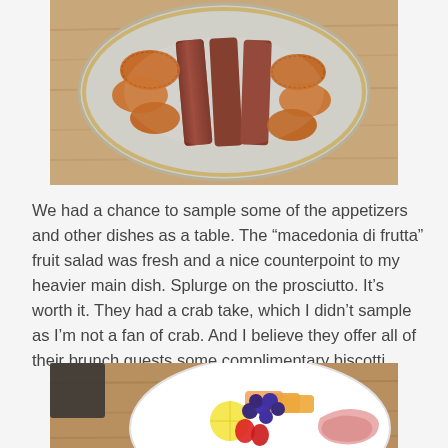[Figure (photo): Top-down view of a plate with grilled/caramelized food items (appears to be ribs or candied bacon with crispy fried items) on a light ceramic plate, on a wooden table surface.]
We had a chance to sample some of the appetizers and other dishes as a table. The “macedonia di frutta” fruit salad was fresh and a nice counterpoint to my heavier main dish. Splurge on the prosciutto. It’s worth it. They had a crab take, which I didn’t sample as I’m not a fan of crab. And I believe they offer all of their brunch guests some complimentary biscotti.
[Figure (photo): Top-down view of a white plate with a fruit salad (blueberries, strawberries, melon slices), prosciutto, and a fork resting on a wooden table.]